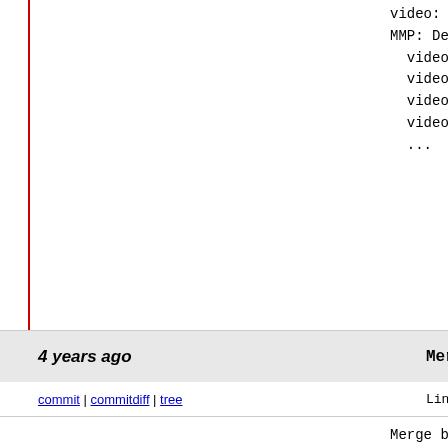video: fbdev-
MMP: Delete an error message for a failed
video: auo_k190x: Delete an error mes
video: sh_mobile_lcdcfb: Delete an erro
video: sh_mobile_meram: Delete an err
video: fbdev: sh_mobile_meram: Drop s
...
4 years ago
Merge branch 'afs-proc' of git://git.ker
commit | commitdiff | tree
Linus Torvalds [Sat, 16 Jun 2018 07:3
Merge branch 'afs-proc' of git://git./linux/k

Pull AFS updates from Al Viro:
 "Assorted AFS stuff - ended up in vfs.git
  of David's AFS-related followups to Chr

* 'afs-proc' of git://git.kernel.org/pub/scm/
  afs: Optimise callback breaking by not r
  afs: Display manually added cells in dy
  afs: Enable IPv6 DNS lookups
  afs: Show all of a server's addresses in
  afs: Handle CONFIG_PROC_FS=n
  proc: Make inline name size calculation